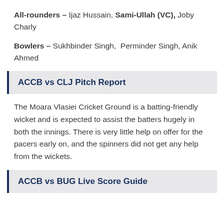All-rounders – Ijaz Hussain, Sami-Ullah (VC), Joby Charly
Bowlers – Sukhbinder Singh, Perminder Singh, Anik Ahmed
ACCB vs CLJ Pitch Report
The Moara Vlasiei Cricket Ground is a batting-friendly wicket and is expected to assist the batters hugely in both the innings. There is very little help on offer for the pacers early on, and the spinners did not get any help from the wickets.
ACCB vs BUG Live Score Guide